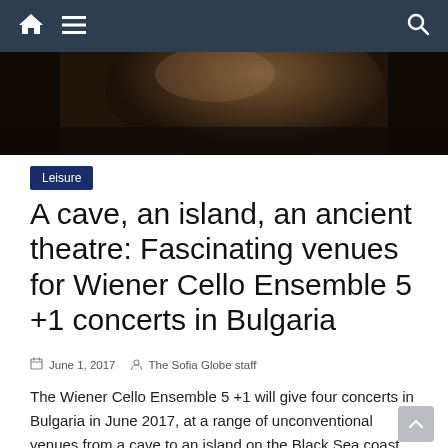Navigation bar with home, menu, and search icons
[Figure (photo): Partial close-up photo of a cello or stringed instrument, dark background, warm brown tones]
Leisure
A cave, an island, an ancient theatre: Fascinating venues for Wiener Cello Ensemble 5 +1 concerts in Bulgaria
June 1, 2017   The Sofia Globe staff
The Wiener Cello Ensemble 5 +1 will give four concerts in Bulgaria in June 2017, at a range of unconventional venues from a cave to an island on the Black Sea coast.